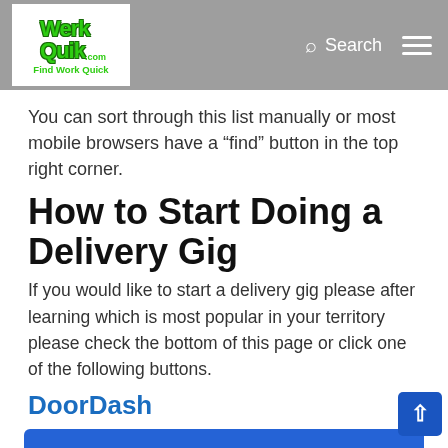WerkQuik.com Find Work Quick — Search
You can sort through this list manually or most mobile browsers have a “find” button in the top right corner.
How to Start Doing a Delivery Gig
If you would like to start a delivery gig please after learning which is most popular in your territory please check the bottom of this page or click one of the following buttons.
DoorDash
[Figure (other): Blue CTA button: ► Sign Up For DoorDash To Claim Guaranteed Earnings]